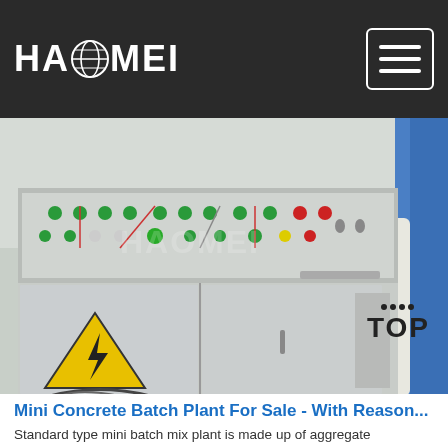HAOMEI
[Figure (photo): Control panel cabinet for a mini concrete batch plant. The panel has numerous green, red, and yellow buttons and switches on top, with a grey metal cabinet below featuring a yellow electrical hazard warning triangle sign and a door handle. Blue industrial components visible in background.]
Mini Concrete Batch Plant For Sale - With Reason...
Standard type mini batch mix plant is made up of aggregate